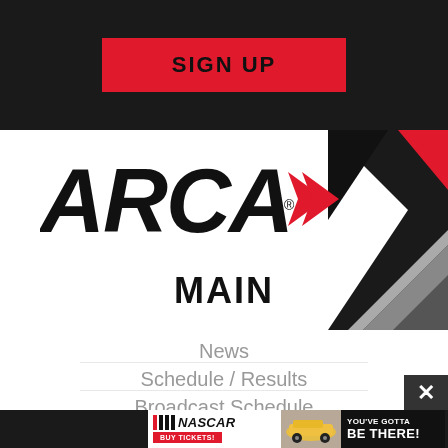SIGN UP
[Figure (logo): ARCA logo with bold italic black text 'ARCA' followed by a red right-pointing chevron/arrow shape]
MAIN
News
Schedule / Results
Broadcast Schedule
[Figure (infographic): NASCAR advertisement banner: NASCAR logo with 'BUY TICKETS!' on red background, racing car image, and text 'YOU'VE GOTTA BE THERE!' on dark background]